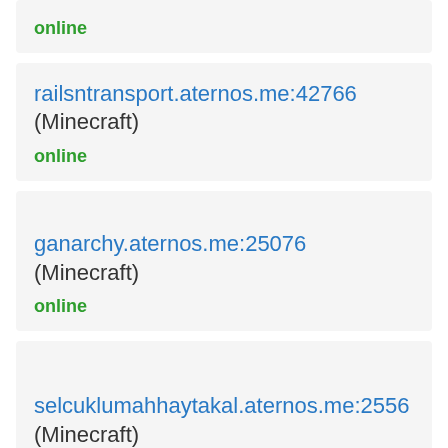online
railsntransport.aternos.me:42766
(Minecraft)
online
ganarchy.aternos.me:25076
(Minecraft)
online
selcuklumahhaytakal.aternos.me:2556
(Minecraft)